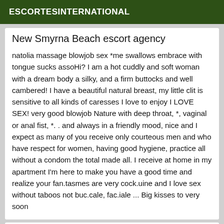ESCORTESINTERNATIONAL
New Smyrna Beach escort agency
natolia massage blowjob sex *me swallows embrace with tongue sucks assoHi? I am a hot cuddly and soft woman with a dream body a silky, and a firm buttocks and well cambered! I have a beautiful natural breast, my little clit is sensitive to all kinds of caresses I love to enjoy I LOVE SEX! very good blowjob Nature with deep throat, *, vaginal or anal fist, *. . and always in a friendly mood, nice and I expect as many of you receive only courteous men and who have respect for women, having good hygiene, practice all without a condom the total made all. I receive at home in my apartment I'm here to make you have a good time and realize your fan.tasmes are very cock.uine and I love sex without taboos not buc.cale, fac.iale ... Big kisses to very soon